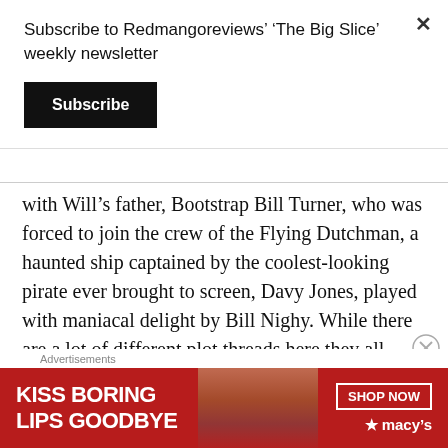Subscribe to Redmangoreviews' ‘The Big Slice’ weekly newsletter
Subscribe
with Will’s father, Bootstrap Bill Turner, who was forced to join the crew of the Flying Dutchman, a haunted ship captained by the coolest-looking pirate ever brought to screen, Davy Jones, played with maniacal delight by Bill Nighy. While there are a lot of different plot threads here they all converge into one singular, purposeful story which culminates with one of the best conclusions any adventure film of this ilk ever had as we get to see Captain Jack and the
Advertisements
[Figure (photo): Advertisement banner for Macy's lipstick product reading 'KISS BORING LIPS GOODBYE' with a SHOP NOW button and Macy's star logo on a red background with an image of a woman's face.]